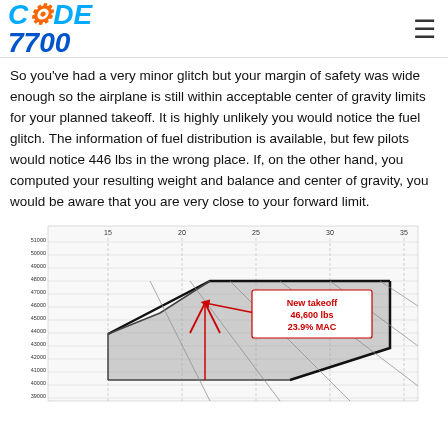CODE 7700
So you've had a very minor glitch but your margin of safety was wide enough so the airplane is still within acceptable center of gravity limits for your planned takeoff. It is highly unlikely you would notice the fuel glitch. The information of fuel distribution is available, but few pilots would notice 446 lbs in the wrong place. If, on the other hand, you computed your resulting weight and balance and center of gravity, you would be aware that you are very close to your forward limit.
[Figure (engineering-diagram): Weight and balance / center of gravity envelope chart showing aircraft weight (lbs) on Y-axis from approximately 39000 to 51000 lbs, and percent MAC on X-axis from 15 to 35. A shaded polygon represents the CG envelope. A red arrow points to a label 'New takeoff 46,600 lbs 23.9% MAC' indicating the new takeoff position within the envelope.]